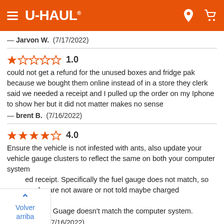U-HAUL header navigation
— Jarvon W.  (7/17/2022)
1.0 — could not get a refund for the unused boxes and fridge pak because we bought them online instead of in a store they clerk said we needed a receipt and I pulled up the order on my Iphone to show her but it did not matter makes no sense — brent B.  (7/16/2022)
4.0 — Ensure the vehicle is not infested with ants, also update your vehicle gauge clusters to reflect the same on both your computer system and receipt. Specifically the fuel gauge does not match, so customers who are not aware or not told maybe charged erroneously because the truck Guage doesn't match the computer system. — Percy M.  (7/16/2022)